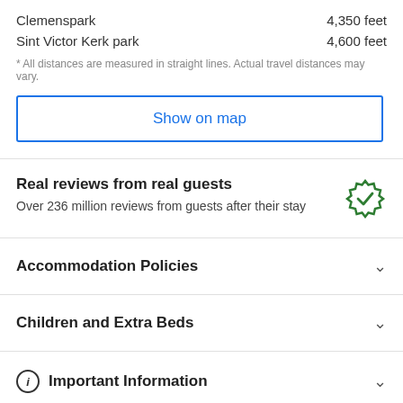Clemenspark	4,350 feet
Sint Victor Kerk park	4,600 feet
* All distances are measured in straight lines. Actual travel distances may vary.
Show on map
Real reviews from real guests
Over 236 million reviews from guests after their stay
Accommodation Policies
Children and Extra Beds
Important Information